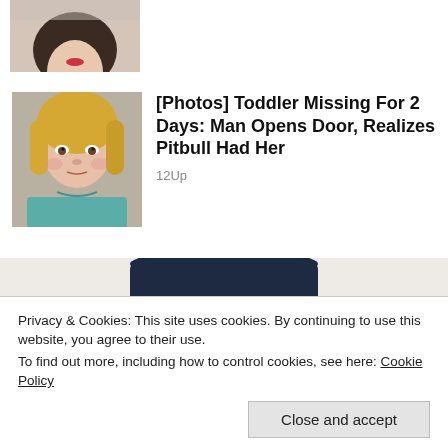[Figure (photo): Partial photo of a woman with dark hair, white top, visible from shoulders up, cropped at top]
[Figure (photo): Photo of a young toddler girl with blonde hair wearing a teal shirt, looking at camera]
[Photos] Toddler Missing For 2 Days: Man Opens Door, Realizes Pitbull Had Her
12Up
[Figure (illustration): Illustrated character of an elderly man with white hair wearing a dark navy cowboy hat, smiling warmly — resembles a mascot or logo figure]
Privacy & Cookies: This site uses cookies. By continuing to use this website, you agree to their use.
To find out more, including how to control cookies, see here: Cookie Policy
Close and accept